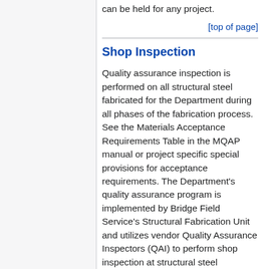can be held for any project.
[top of page]
Shop Inspection
Quality assurance inspection is performed on all structural steel fabricated for the Department during all phases of the fabrication process. See the Materials Acceptance Requirements Table in the MQAP manual or project specific special provisions for acceptance requirements. The Department's quality assurance program is implemented by Bridge Field Service's Structural Fabrication Unit and utilizes vendor Quality Assurance Inspectors (QAI) to perform shop inspection at structural steel fabrication facilities nationwide.